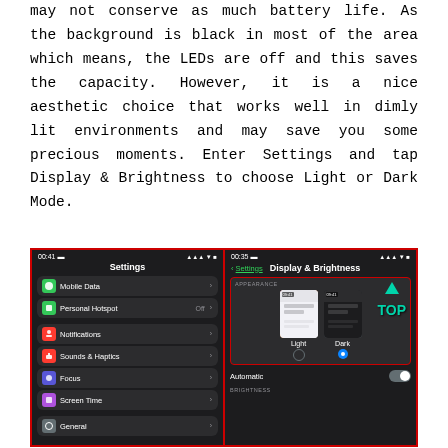may not conserve as much battery life. As the background is black in most of the area which means, the LEDs are off and this saves the capacity. However, it is a nice aesthetic choice that works well in dimly lit environments and may save you some precious moments. Enter Settings and tap Display & Brightness to choose Light or Dark Mode.
[Figure (screenshot): Two iPhone screenshots side by side with red borders. Left shows iOS Settings app in dark mode with items: Mobile Data, Personal Hotspot, Notifications, Sounds & Haptics, Focus, Screen Time, General. Right shows Display & Brightness settings with APPEARANCE section highlighted in red border, showing Light and Dark mode options with Dark selected (blue radio button), a teal arrow pointing up with 'TOP' text, and Automatic toggle switch off.]